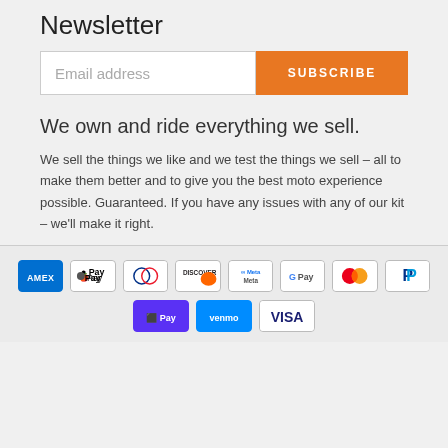Newsletter
Email address
SUBSCRIBE
We own and ride everything we sell.
We sell the things we like and we test the things we sell – all to make them better and to give you the best moto experience possible. Guaranteed. If you have any issues with any of our kit – we'll make it right.
[Figure (infographic): Payment method icons in two rows: Amex, Apple Pay, Diners Club (Diners), Discover, Meta Pay, Google Pay, Mastercard, PayPal in the first row; Shop Pay, Venmo, Visa in the second row.]